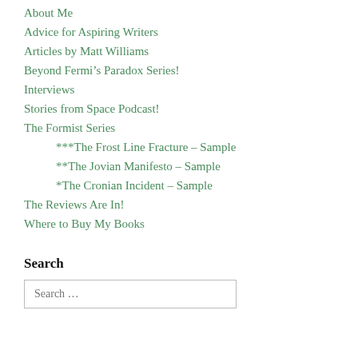About Me
Advice for Aspiring Writers
Articles by Matt Williams
Beyond Fermi’s Paradox Series!
Interviews
Stories from Space Podcast!
The Formist Series
***The Frost Line Fracture – Sample
**The Jovian Manifesto – Sample
*The Cronian Incident – Sample
The Reviews Are In!
Where to Buy My Books
Search
Search …